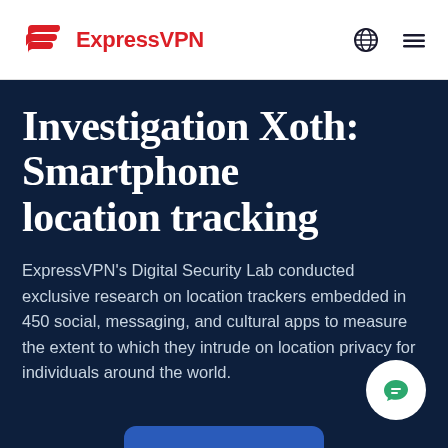ExpressVPN
Investigation Xoth: Smartphone location tracking
ExpressVPN's Digital Security Lab conducted exclusive research on location trackers embedded in 450 social, messaging, and cultural apps to measure the extent to which they intrude on location privacy for individuals around the world.